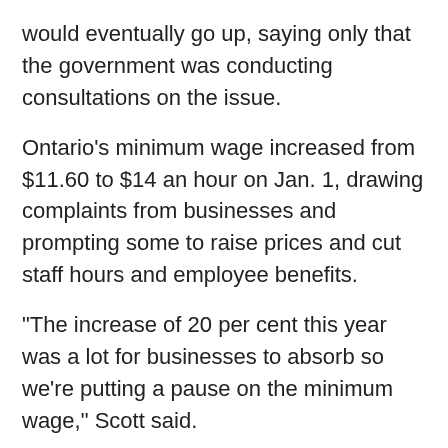would eventually go up, saying only that the government was conducting consultations on the issue.
Ontario's minimum wage increased from $11.60 to $14 an hour on Jan. 1, drawing complaints from businesses and prompting some to raise prices and cut staff hours and employee benefits.
"The increase of 20 per cent this year was a lot for businesses to absorb so we're putting a pause on the minimum wage," Scott said.
"What we're doing is that businesses have the chance to catch up but we're also helping the low-income people in Ontario with tax breaks," the minister said, though she could not say when those measures would roll out.
She also said the government was reviewing the labour reform legislation brought in by the Liberals, which included the wage increase. Some business groups